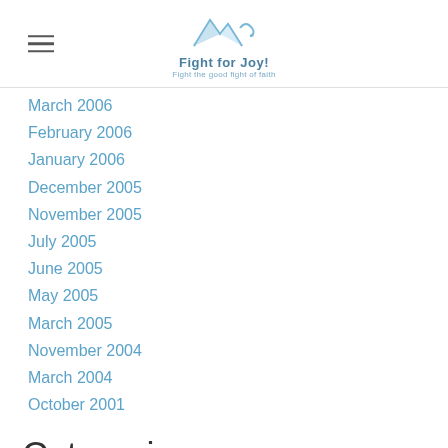Fight for Joy! Fight the good fight of faith
March 2006
February 2006
January 2006
December 2005
November 2005
July 2005
June 2005
May 2005
March 2005
November 2004
March 2004
October 2001
Categories
All
Bad Theology
Bible